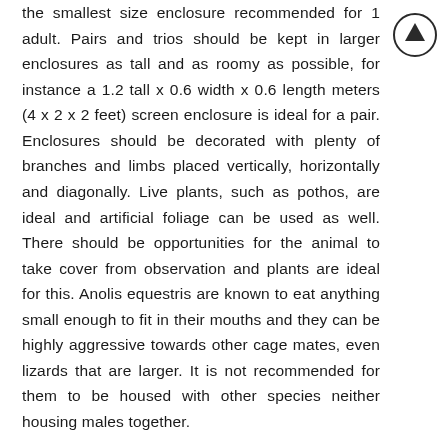the smallest size enclosure recommended for 1 adult. Pairs and trios should be kept in larger enclosures as tall and as roomy as possible, for instance a 1.2 tall x 0.6 width x 0.6 length meters (4 x 2 x 2 feet) screen enclosure is ideal for a pair. Enclosures should be decorated with plenty of branches and limbs placed vertically, horizontally and diagonally. Live plants, such as pothos, are ideal and artificial foliage can be used as well. There should be opportunities for the animal to take cover from observation and plants are ideal for this. Anolis equestris are known to eat anything small enough to fit in their mouths and they can be highly aggressive towards other cage mates, even lizards that are larger. It is not recommended for them to be housed with other species neither housing males together.
[Figure (other): Circular arrow button pointing upward (navigation/scroll-to-top button)]